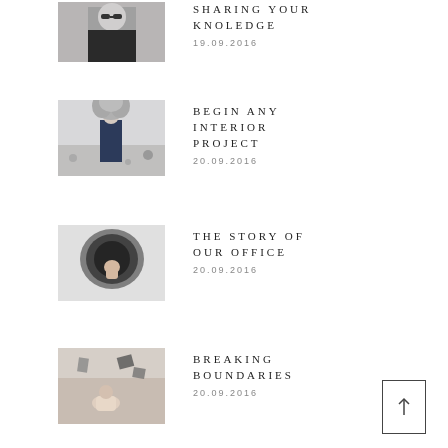[Figure (photo): Woman in sunglasses and black jacket, fashion photo]
SHARING YOUR KNOLEDGE
19.09.2016
[Figure (photo): Person holding large feathery plant in desert landscape]
BEGIN ANY INTERIOR PROJECT
20.09.2016
[Figure (photo): Abstract dark fluffy object with hand]
THE STORY OF OUR OFFICE
20.09.2016
[Figure (photo): Person in room with objects floating around]
BREAKING BOUNDARIES
20.09.2016